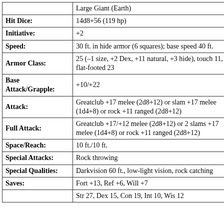|  |  |
| --- | --- |
|  | Large Giant (Earth) |
| Hit Dice: | 14d8+56 (119 hp) |
| Initiative: | +2 |
| Speed: | 30 ft. in hide armor (6 squares); base speed 40 ft. |
| Armor Class: | 25 (–1 size, +2 Dex, +11 natural, +3 hide), touch 11, flat-footed 23 |
| Base Attack/Grapple: | +10/+22 |
| Attack: | Greatclub +17 melee (2d8+12) or slam +17 melee (1d4+8) or rock +11 ranged (2d8+12) |
| Full Attack: | Greatclub +17/+12 melee (2d8+12) or 2 slams +17 melee (1d4+8) or rock +11 ranged (2d8+12) |
| Space/Reach: | 10 ft./10 ft. |
| Special Attacks: | Rock throwing |
| Special Qualities: | Darkvision 60 ft., low-light vision, rock catching |
| Saves: | Fort +13, Ref +6, Will +7 |
|  | Str 27, Dex 15, Con 19, Int 10, Wis 12 |